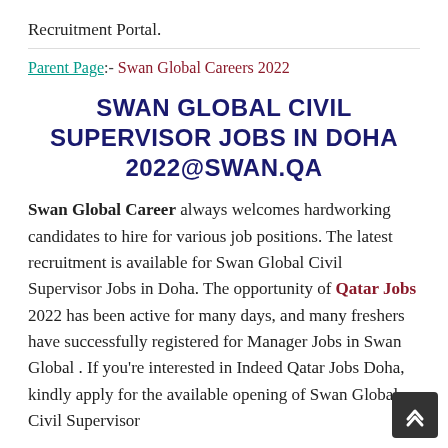Recruitment Portal.
Parent Page:- Swan Global Careers 2022
SWAN GLOBAL CIVIL SUPERVISOR JOBS IN DOHA 2022@SWAN.QA
Swan Global Career always welcomes hardworking candidates to hire for various job positions. The latest recruitment is available for Swan Global Civil Supervisor Jobs in Doha. The opportunity of Qatar Jobs 2022 has been active for many days, and many freshers have successfully registered for Manager Jobs in Swan Global . If you're interested in Indeed Qatar Jobs Doha, kindly apply for the available opening of Swan Global Civil Supervisor